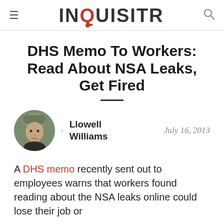INQUISITR
DHS Memo To Workers: Read About NSA Leaks, Get Fired
[Figure (photo): Circular author headshot of Llowell Williams, a young man wearing a grey beanie hat]
Llowell Williams — July 16, 2013
A DHS memo recently sent out to employees warns that workers found reading about the NSA leaks online could lose their job or